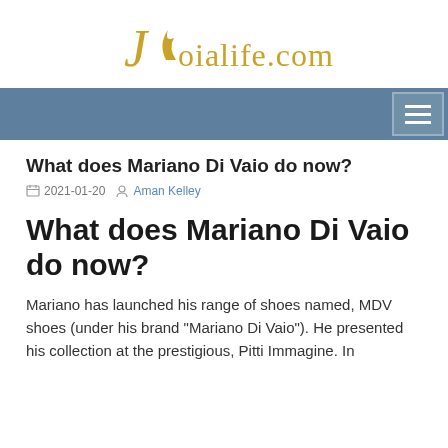Joialife.com
What does Mariano Di Vaio do now?
2021-01-20   Aman Kelley
What does Mariano Di Vaio do now?
Mariano has launched his range of shoes named, MDV shoes (under his brand "Mariano Di Vaio"). He presented his collection at the prestigious, Pitti Immagine. In